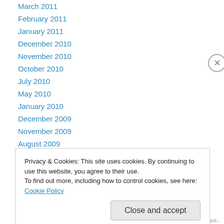March 2011
February 2011
January 2011
December 2010
November 2010
October 2010
July 2010
May 2010
January 2010
December 2009
November 2009
August 2009
July 2009
Privacy & Cookies: This site uses cookies. By continuing to use this website, you agree to their use. To find out more, including how to control cookies, see here: Cookie Policy
Close and accept